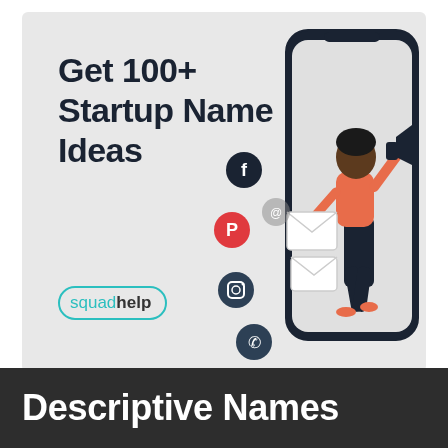[Figure (illustration): Advertisement card with light gray background showing the text 'Get 100+ Startup Name Ideas', the Squadhelp logo (teal chat-bubble icon with 'squad' in teal and 'help' in dark), social media icons (Facebook, Pinterest, Instagram, WhatsApp, email), and an illustrated woman holding a megaphone stepping out of a smartphone frame.]
Descriptive Names